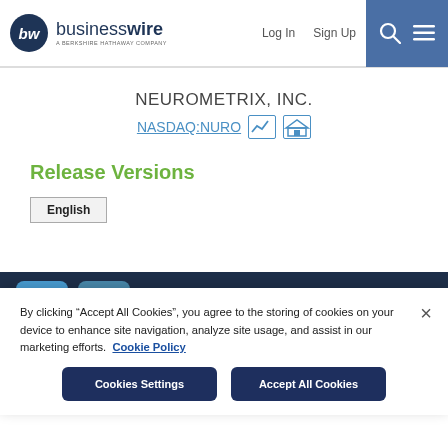businesswire — A BERKSHIRE HATHAWAY COMPANY | Log In | Sign Up
NEUROMETRIX, INC.
NASDAQ:NURO
Release Versions
English
By clicking "Accept All Cookies", you agree to the storing of cookies on your device to enhance site navigation, analyze site usage, and assist in our marketing efforts. Cookie Policy
Cookies Settings
Accept All Cookies